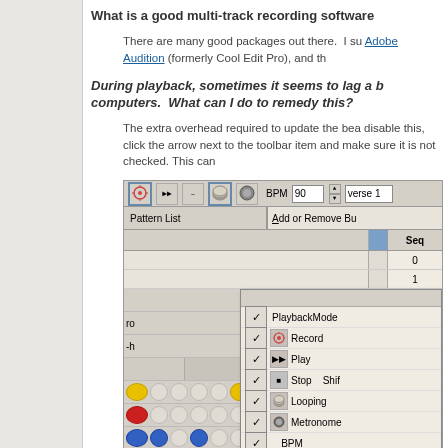What is a good multi-track recording software
There are many good packages out there.  I su Adobe Audition (formerly Cool Edit Pro), and th
During playback, sometimes it seems to lag a b computers.  What can I do to remedy this?
The extra overhead required to update the bea disable this, click the arrow next to the toolbar item and make sure it is not checked. This can
[Figure (screenshot): Screenshot of a music sequencer application toolbar showing BPM set to 90, verse 1, with a dropdown context menu open showing options: PlaybackMode, Record, Play, Stop (Shift+...), Looping, Metronome, BPM, Song Tempo — all with checkmarks. Below the toolbar is a Pattern List and Seq columns (0 and 1), and track rows with beat pattern circles in yellow, blue, and red. A blue highlighted track row is visible.]